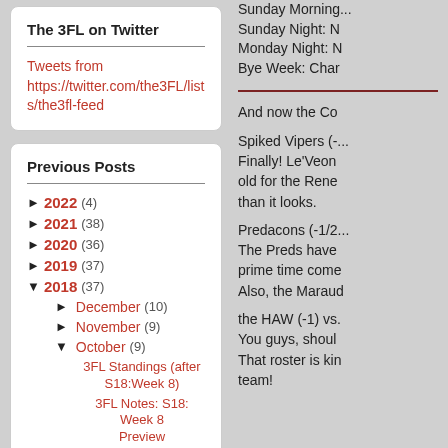The 3FL on Twitter
Tweets from https://twitter.com/the3FL/lists/the3fl-feed
Previous Posts
► 2022 (4)
► 2021 (38)
► 2020 (36)
► 2019 (37)
▼ 2018 (37)
► December (10)
► November (9)
▼ October (9)
3FL Standings (after S18:Week 8)
3FL Notes: S18: Week 8 Preview
Sunday Morning...
Sunday Night: N
Monday Night: N
Bye Week: Char
And now the Co
Spiked Vipers (-... Finally! Le'Veon old for the Rene than it looks.
Predacons (-1/2... The Preds have prime time come Also, the Maraud
the HAW (-1) vs. You guys, shoul That roster is kin team!